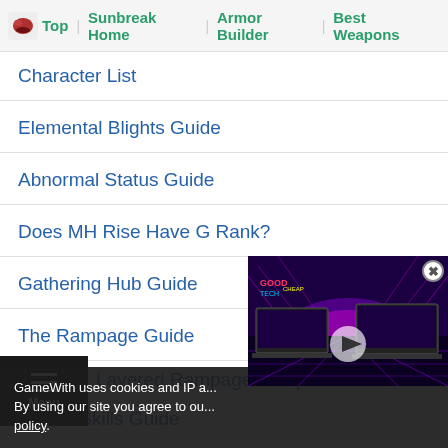Top | Sunbreak Home | Armor Builder | Best Weapons
Character List
Elemental Blights Guide
Abnormal Status Guide
Does MH Rise Have G Rank?
Gathering Hub Guide
The Rampage Guide
Layered Rampage Weapon
Switch Skills Guide
[Figure (screenshot): Video thumbnail showing two laptops with purple synthwave display, with a play button overlay. GoodTechCheap branding visible.]
GameWith uses cookies and IP a... By using our site you agree to ou... policy.